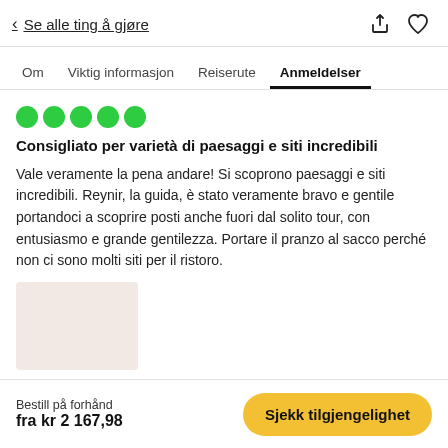< Se alle ting å gjøre
Om   Viktig informasjon   Reiserute   Anmeldelser
[Figure (other): Five green filled circle rating dots indicating a 5-dot review score]
Consigliato per varietà di paesaggi e siti incredibili
Vale veramente la pena andare! Si scoprono paesaggi e siti incredibili. Reynir, la guida, è stato veramente bravo e gentile portandoci a scoprire posti anche fuori dal solito tour, con entusiasmo e grande gentilezza. Portare il pranzo al sacco perché non ci sono molti siti per il ristoro.
[Figure (photo): A light pinkish-beige image placeholder thumbnail]
Bestill på forhånd
fra kr 2 167,98
Sjekk tilgjengelighet